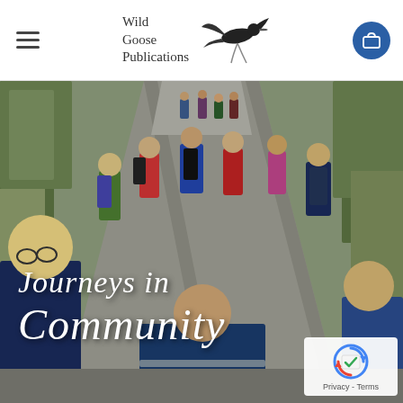Wild Goose Publications
[Figure (photo): A group of people walking away from the camera along a country road or path, wearing colorful outdoor jackets and backpacks. Greenery and hedges line the sides. Overlaid text reads 'Journeys in Community' in white italic script. A reCAPTCHA badge appears in the bottom-right corner with 'Privacy - Terms' text.]